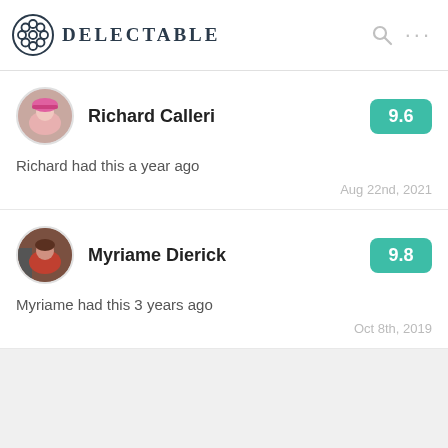DELECTABLE
Richard Calleri — score: 9.6
Richard had this a year ago
Aug 22nd, 2021
Myriame Dierick — score: 9.8
Myriame had this 3 years ago
Oct 8th, 2019